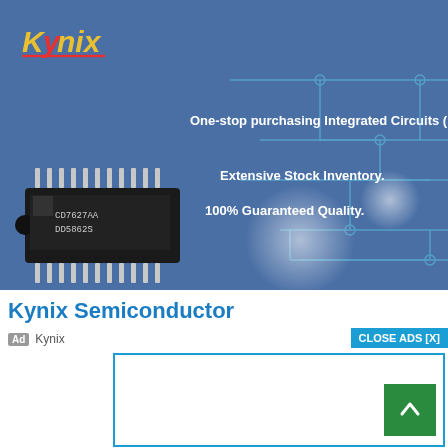[Figure (advertisement): Kynix Semiconductor advertisement banner with blue background, circuit board trace pattern, DIP IC chip image, and text: One-stop purchasing Integrated Circuits (ICs). Extensive Stock Inventory. 100% Guaranteed Quality.]
Kynix Semiconductor
Ad  Kynix
CLOSE ADS [X]
[Figure (other): Empty white advertisement placeholder box with cyan border]